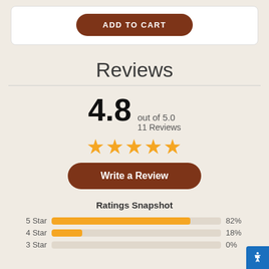[Figure (other): Add to Cart button (brown rounded button)]
Reviews
4.8 out of 5.0
11 Reviews
[Figure (other): 5 gold star rating icons]
[Figure (other): Write a Review button (brown rounded button)]
Ratings Snapshot
[Figure (bar-chart): Ratings Snapshot]